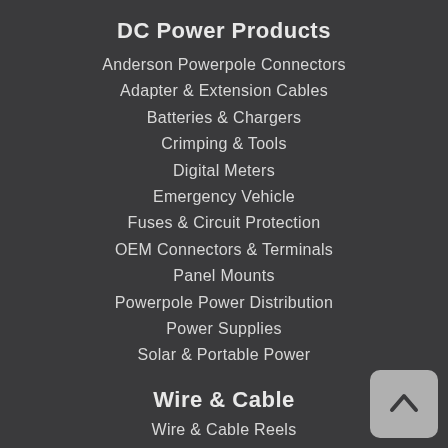DC Power Products
Anderson Powerpole Connectors
Adapter & Extension Cables
Batteries & Chargers
Crimping & Tools
Digital Meters
Emergency Vehicle
Fuses & Circuit Protection
OEM Connectors & Terminals
Panel Mounts
Powerpole Power Distribution
Power Supplies
Solar & Portable Power
Wire & Cable
Wire & Cable Reels
Wiring Accessories